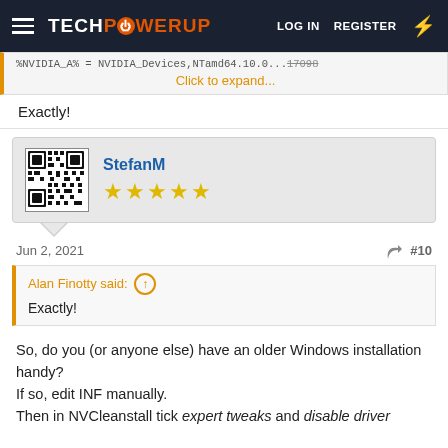TECHPOWERUP  LOG IN  REGISTER
%NVIDIA_A% = NVIDIA_Devices,NTamd64.10.0...17098
Click to expand...
Exactly!
StefanM (5 stars)
Jun 2, 2021  #10
Alan Finotty said: ↑
Exactly!
So, do you (or anyone else) have an older Windows installation handy?
If so, edit INF manually.
Then in NVCleanstall tick expert tweaks and disable driver